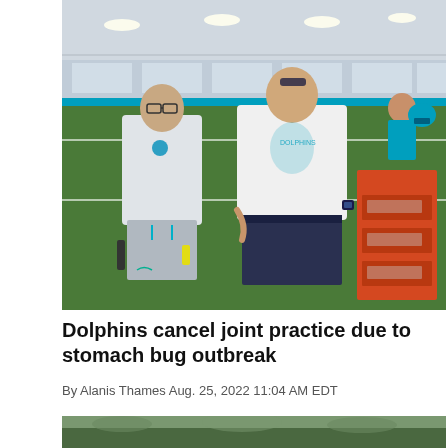[Figure (photo): Two men standing inside an indoor football practice facility. The man on the left wears glasses, a light gray Miami Dolphins hoodie and gray shorts, holding equipment. The man on the right wears a white t-shirt and dark navy shorts, standing next to an orange equipment cart. Football players visible in background.]
Dolphins cancel joint practice due to stomach bug outbreak
By Alanis Thames Aug. 25, 2022 11:04 AM EDT
[Figure (photo): Partial view of a second photo, partially visible at the bottom of the page.]